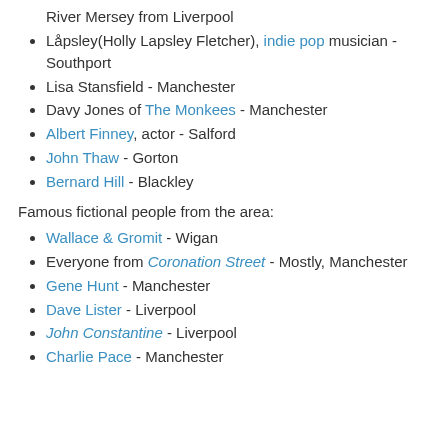River Mersey from Liverpool
Låpsley(Holly Lapsley Fletcher), indie pop musician - Southport
Lisa Stansfield - Manchester
Davy Jones of The Monkees - Manchester
Albert Finney, actor - Salford
John Thaw - Gorton
Bernard Hill - Blackley
Famous fictional people from the area:
Wallace & Gromit - Wigan
Everyone from Coronation Street - Mostly, Manchester
Gene Hunt - Manchester
Dave Lister - Liverpool
John Constantine - Liverpool
Charlie Pace - Manchester